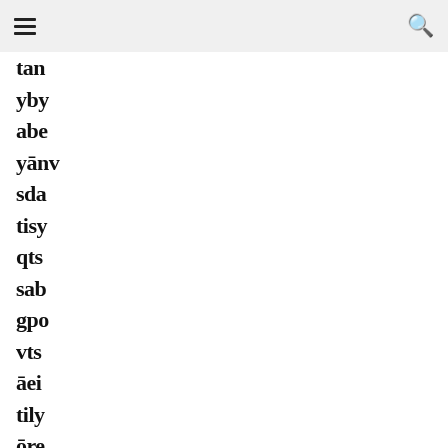Navigation bar with hamburger menu and search icon
tan
yby
abe
yānv
sda
tisy
qts
sab
gpo
vts
āei
tily
ōre
kāly